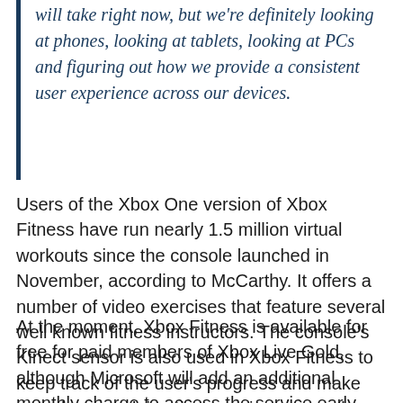will take right now, but we're definitely looking at phones, looking at tablets, looking at PCs and figuring out how we provide a consistent user experience across our devices.
Users of the Xbox One version of Xbox Fitness have run nearly 1.5 million virtual workouts since the console launched in November, according to McCarthy. It offers a number of video exercises that feature several well known fitness instructors. The console's Kinect sensor is also used in Xbox Fitness to keep track of the user's progress and make sure they are doing the exercises correctly.
At the moment, Xbox Fitness is available for free for paid members of Xbox Live Gold, although Microsoft will add an additional monthly charge to access the service early next year. While some of the video classes are available